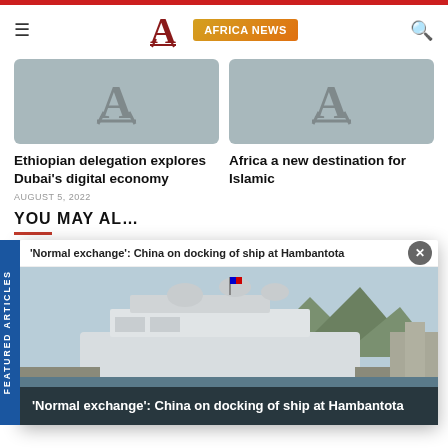AFRICA NEWS
[Figure (screenshot): Thumbnail placeholder with Africa News logo watermark - left]
[Figure (screenshot): Thumbnail placeholder with Africa News logo watermark - right]
Ethiopian delegation explores Dubai's digital economy
AUGUST 5, 2022
Africa a new destination for Islamic
[Figure (screenshot): Featured article popup: 'Normal exchange': China on docking of ship at Hambantota - photo of a large white ship docked at port with mountains in background]
YOU MAY AL…
William Ruto is Kenya's new President
AUGUST 16, 2022